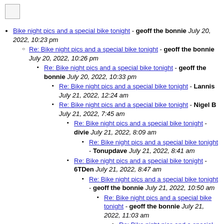[Figure (logo): Small broken/placeholder image icon in top-left corner]
Bike night pics and a special bike tonight - geoff the bonnie July 20, 2022, 10:23 pm
Re: Bike night pics and a special bike tonight - geoff the bonnie July 20, 2022, 10:26 pm
Re: Bike night pics and a special bike tonight - geoff the bonnie July 20, 2022, 10:33 pm
Re: Bike night pics and a special bike tonight - Lannis July 21, 2022, 12:24 am
Re: Bike night pics and a special bike tonight - Nigel B July 21, 2022, 7:45 am
Re: Bike night pics and a special bike tonight - divie July 21, 2022, 8:09 am
Re: Bike night pics and a special bike tonight - Tonupdave July 21, 2022, 8:41 am
Re: Bike night pics and a special bike tonight - 6TDen July 21, 2022, 8:47 am
Re: Bike night pics and a special bike tonight - geoff the bonnie July 21, 2022, 10:50 am
Re: Bike night pics and a special bike tonight - geoff the bonnie July 21, 2022, 11:03 am
Re: Bike night pics and a special bike tonight - Hants Ian July 21, 2022, 11:10 am
Re: Bike night pics and a special bike tonight - Andy C July 21, 2022, 11:10 am
Re: Bike night pics and a special bike tonight - Bikershark July 21, 2022, 11:27 am